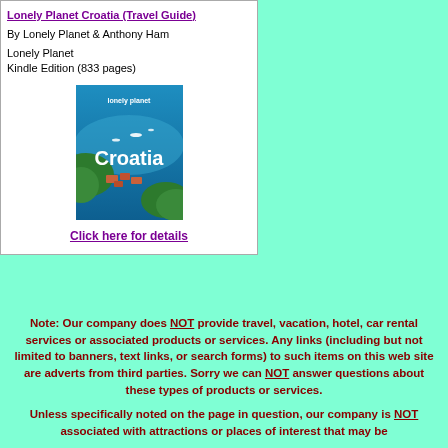Lonely Planet Croatia (Travel Guide)
By Lonely Planet & Anthony Ham
Lonely Planet
Kindle Edition (833 pages)
[Figure (illustration): Book cover of Lonely Planet Croatia showing aerial view of a blue sea bay with boats, green forested hills, and terracotta-roofed buildings. White text reads 'lonely planet' at top and 'Croatia' in large letters.]
Click here for details
Note: Our company does NOT provide travel, vacation, hotel, car rental services or associated products or services. Any links (including but not limited to banners, text links, or search forms) to such items on this web site are adverts from third parties. Sorry we can NOT answer questions about these types of products or services.
Unless specifically noted on the page in question, our company is NOT associated with attractions or places of interest that may be described on this website, or any company after providing link